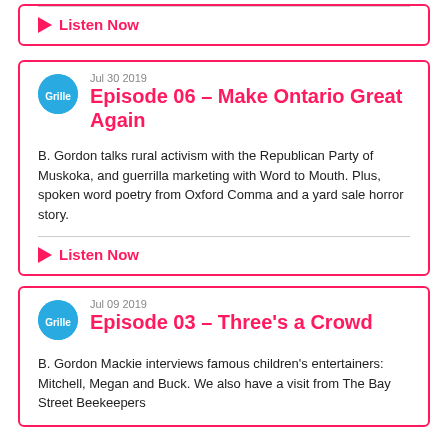Listen Now
Jul 30 2019
Episode 06 – Make Ontario Great Again
B. Gordon talks rural activism with the Republican Party of Muskoka, and guerrilla marketing with Word to Mouth. Plus, spoken word poetry from Oxford Comma and a yard sale horror story.
Listen Now
Jul 09 2019
Episode 03 – Three's a Crowd
B. Gordon Mackie interviews famous children's entertainers: Mitchell, Megan and Buck. We also have a visit from The Bay Street Beekeepers